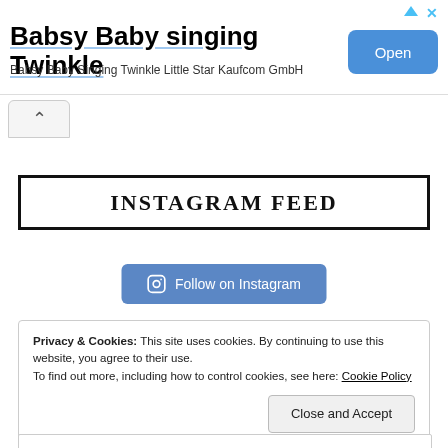[Figure (screenshot): Advertisement banner for 'Babsy Baby singing Twinkle' app by Kaufcom GmbH with an Open button in blue]
[Figure (screenshot): Collapse/up-arrow tab button below the ad banner]
INSTAGRAM FEED
[Figure (screenshot): Blue 'Follow on Instagram' button with Instagram camera icon]
Privacy & Cookies: This site uses cookies. By continuing to use this website, you agree to their use.
To find out more, including how to control cookies, see here: Cookie Policy
Close and Accept